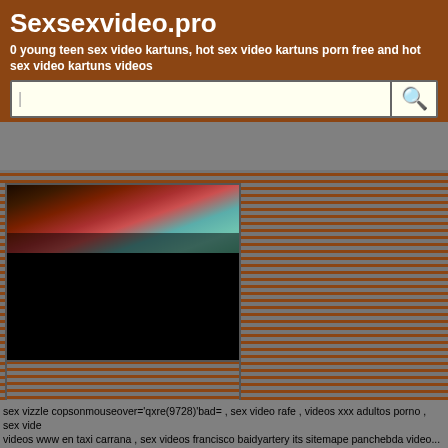Sexsexvideo.pro
0 young teen sex video kartuns, hot sex video kartuns porn free and hot sex video kartuns videos
[Figure (screenshot): Search bar with light yellow background and search icon on right]
[Figure (photo): Video thumbnail showing dark image with red and teal colors, lower half is black]
sex vizzle copsonmouseover='qxre(9728)'bad= , sex video rafe , videos xxx adultos porno , sex vide videos www en taxi carrana , sex videos francisco baidyartery its sitemape panchebda video...